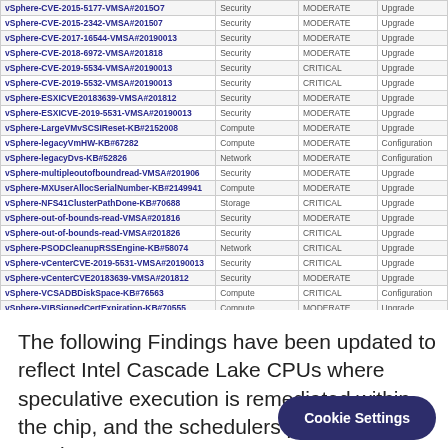| Finding | Category | Severity | Remediation |
| --- | --- | --- | --- |
| vSphere-CVE-2015-5177-VMSA#2015O7 | Security | MODERATE | Upgrade |
| vSphere-CVE-2015-2342-VMSA#201507 | Security | MODERATE | Upgrade |
| vSphere-CVE-2017-16544-VMSA#20190013 | Security | MODERATE | Upgrade |
| vSphere-CVE-2018-6972-VMSA#201818 | Security | MODERATE | Upgrade |
| vSphere-CVE-2019-5534-VMSA#20190013 | Security | CRITICAL | Upgrade |
| vSphere-CVE-2019-5532-VMSA#20190013 | Security | CRITICAL | Upgrade |
| vSphere-ESXICVE20183639-VMSA#201812 | Security | MODERATE | Upgrade |
| vSphere-ESXICVE-2019-5531-VMSA#20190013 | Security | MODERATE | Upgrade |
| vSphere-LargeVMvSCSIReset-KB#2152008 | Compute | MODERATE | Upgrade |
| vSphere-legacyVmHW-KB#67282 | Compute | MODERATE | Configuration |
| vSphere-legacyDvs-KB#52826 | Network | MODERATE | Configuration |
| vSphere-multipleoutofboundread-VMSA#201906 | Security | MODERATE | Upgrade |
| vSphere-MXUserAllocSerialNumber-KB#2149941 | Compute | MODERATE | Upgrade |
| vSphere-NFS41ClusterPathDone-KB#70688 | Storage | CRITICAL | Upgrade |
| vSphere-out-of-bounds-read-VMSA#201816 | Security | MODERATE | Upgrade |
| vSphere-out-of-bounds-read-VMSA#201826 | Security | CRITICAL | Upgrade |
| vSphere-PSODCleanupRSSEngine-KB#58074 | Network | CRITICAL | Upgrade |
| vSphere-vCenterCVE-2019-5531-VMSA#20190013 | Security | CRITICAL | Upgrade |
| vSphere-vCenterCVE20183639-VMSA#201812 | Security | MODERATE | Upgrade |
| vSphere-VCSADBDiskSpace-KB#76563 | Compute | CRITICAL | Configuration |
| vSphere-VIBSignedCertExpiration-KB#70555 | Compute | MODERATE | Upgrade |
| vSphere-Vmotion6Dto65-KB#59723 | Compute | MODERATE | Upgrade |
| vSphere-VMToolsCVE20203941-VMSA#202002 | Security | MODERATE | Configuration |
The following Findings have been updated to reflect Intel Cascade Lake CPUs where speculative execution is remediated within the chip, and the schedulers provided within ESXi